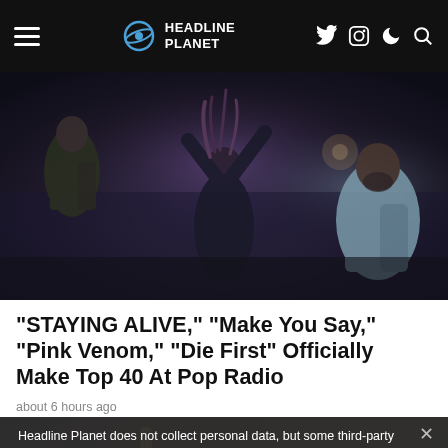HEADLINE PLANET
[Figure (photo): Three people outdoors at night in dark clothing, center figure with arms raised, foggy atmospheric background]
“STAYING ALIVE,” “Make You Say,” “Pink Venom,” “Die First” Officially Make Top 40 At Pop Radio
about 6 hours ago
Headline Planet does not collect personal data, but some third-party advertisers & applications may use cookies. Please confirm your acknowledgement and/or consult our privacy policy for details & opt-out instructions.
Confirmed   Privacy policy
[Figure (photo): Partial view of musical instruments background image]